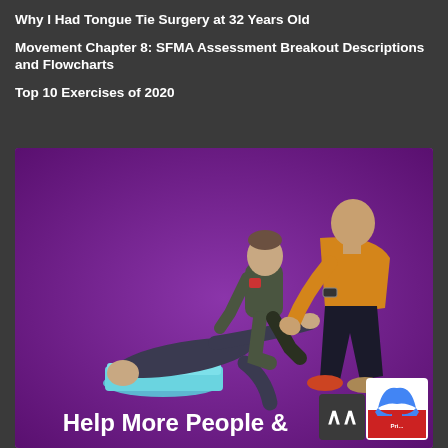Why I Had Tongue Tie Surgery at 32 Years Old
Movement Chapter 8: SFMA Assessment Breakout Descriptions and Flowcharts
Top 10 Exercises of 2020
[Figure (photo): Three people on a purple background: one person lying on a blue foam mat, one person kneeling beside them, and one bald person in a yellow/orange sweater bending over toward them. Text at the bottom reads 'Help More People &']